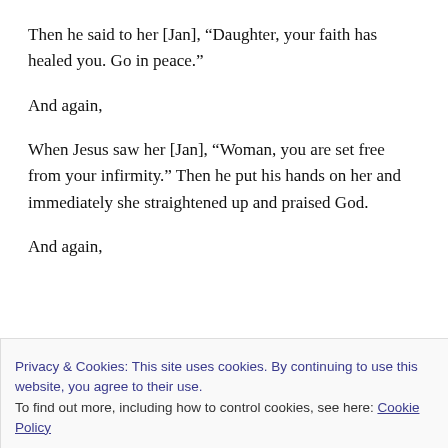Then he said to her [Jan], “Daughter, your faith has healed you. Go in peace.”
And again,
When Jesus saw her [Jan], “Woman, you are set free from your infirmity.” Then he put his hands on her and immediately she straightened up and praised God.
And again,
Privacy & Cookies: This site uses cookies. By continuing to use this website, you agree to their use. To find out more, including how to control cookies, see here: Cookie Policy
this fight WITH YOU ready to double team OUR